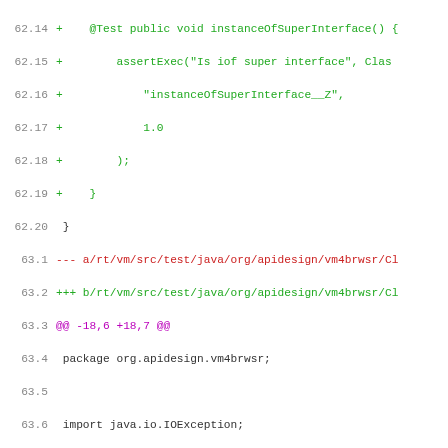[Figure (screenshot): Code diff view showing git diff output with line numbers, added lines in green, removed lines in red, hunk headers in purple, and normal context lines in dark gray. Shows Java source code diff for test files and ClassesMarker related code.]